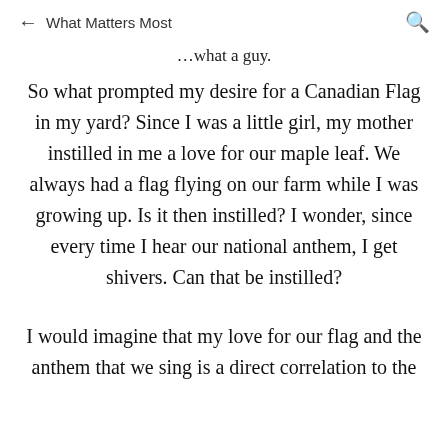← What Matters Most 🔍
…what a guy.
So what prompted my desire for a Canadian Flag in my yard? Since I was a little girl, my mother instilled in me a love for our maple leaf. We always had a flag flying on our farm while I was growing up. Is it then instilled? I wonder, since every time I hear our national anthem, I get shivers. Can that be instilled?
I would imagine that my love for our flag and the anthem that we sing is a direct correlation to the